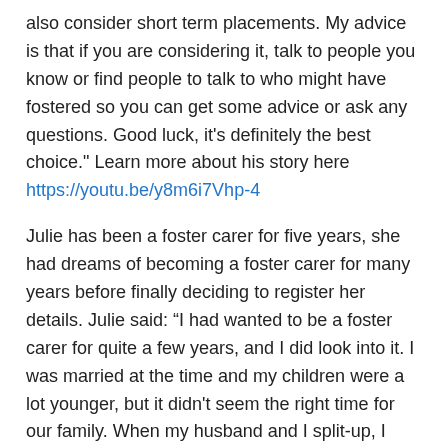also consider short term placements. My advice is that if you are considering it, talk to people you know or find people to talk to who might have fostered so you can get some advice or ask any questions. Good luck, it's definitely the best choice." Learn more about his story here https://youtu.be/y8m6i7Vhp-4
Julie has been a foster carer for five years, she had dreams of becoming a foster carer for many years before finally deciding to register her details. Julie said: “I had wanted to be a foster carer for quite a few years, and I did look into it. I was married at the time and my children were a lot younger, but it didn't seem the right time for our family. When my husband and I split-up, I thought it was the end of that dream, but then I thought no, I'm going to do this and I made the call. I worked as a Teaching Assistant in a Primary School for ten years and a boy in our class had been in foster care and the difference it made to that child was unbelievable. That was what did it for me and I've never looked back since." Hear more about Julie's story here